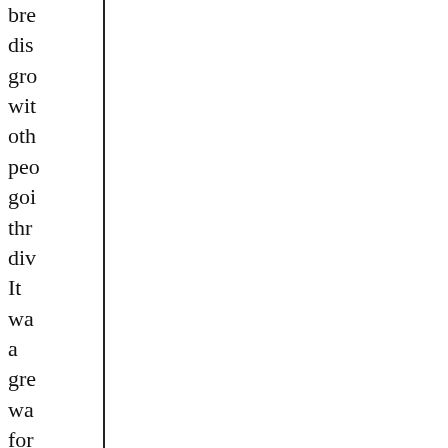bre dis gro wit oth peo goi thr div It wa a gre wa for me to get adv